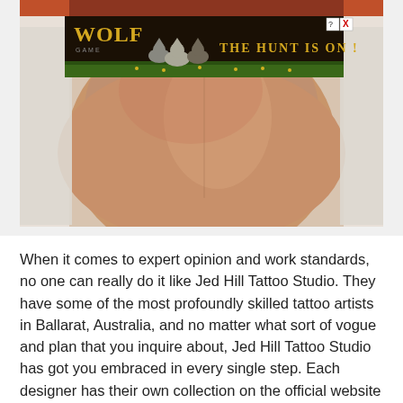[Figure (photo): A photo of a person's bare lower back/torso, skin with slight redness, with a web advertisement banner overlaid on top showing 'Wolf' game with wolves and the text 'THE HUNT IS ON!' with close and help buttons.]
When it comes to expert opinion and work standards, no one can really do it like Jed Hill Tattoo Studio. They have some of the most profoundly skilled tattoo artists in Ballarat, Australia, and no matter what sort of vogue and plan that you inquire about, Jed Hill Tattoo Studio has got you embraced in every single step. Each designer has their own collection on the official website which you can take